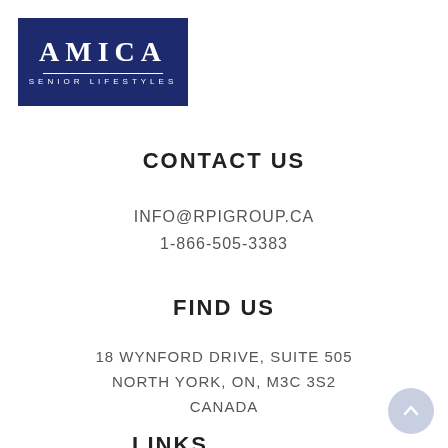[Figure (logo): Amica Senior Lifestyles logo — white text on dark navy blue background. Large serif 'AMICA' text with a horizontal rule beneath and 'SENIOR LIFESTYLES' in small caps below.]
CONTACT US
INFO@RPIGROUP.CA
1-866-505-3383
FIND US
18 WYNFORD DRIVE, SUITE 505
NORTH YORK, ON, M3C 3S2
CANADA
LINKS